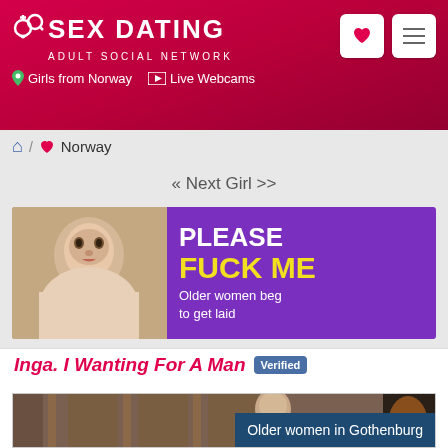SEX DATING ADULT SOCIAL NETWORK | Girls from Norway | Live Webcams
🏠 / ❤ Norway
« Next Girl >>
[Figure (photo): Adult dating advertisement banner with photo on left and purple background on right reading: PLEASE FUCK ME Older women beg to get laid]
Inga. I Wanting For A Man Verified
[Figure (photo): Profile photo of a young woman smiling indoors with wooden doors in background]
Older women in Gothenburg